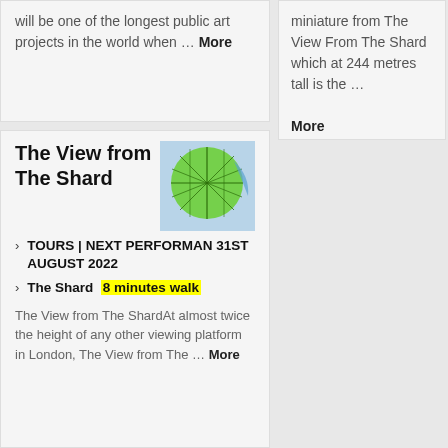will be one of the longest public art projects in the world when … More
miniature from The View From The Shard which at 244 metres tall is the … More
The View from The Shard
[Figure (map): Green circular map thumbnail showing London transport network]
TOURS | NEXT PERFORMAN 31ST AUGUST 2022
The Shard  8 minutes walk
The View from The ShardAt almost twice the height of any other viewing platform in London, The View from The … More